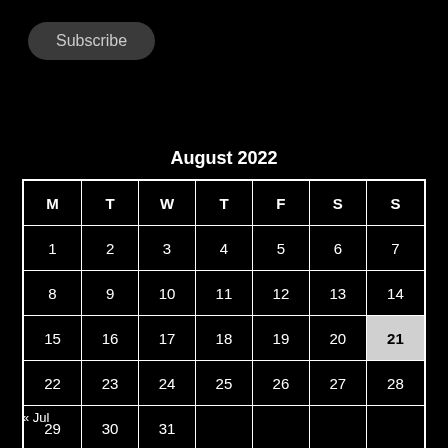[Figure (other): Subscribe button — dark rounded pill button with label 'Subscribe']
August 2022
| M | T | W | T | F | S | S |
| --- | --- | --- | --- | --- | --- | --- |
| 1 | 2 | 3 | 4 | 5 | 6 | 7 |
| 8 | 9 | 10 | 11 | 12 | 13 | 14 |
| 15 | 16 | 17 | 18 | 19 | 20 | 21 |
| 22 | 23 | 24 | 25 | 26 | 27 | 28 |
| 29 | 30 | 31 |  |  |  |  |
« Jul